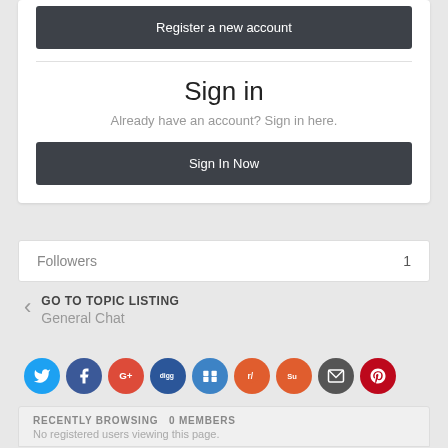Register a new account
Sign in
Already have an account? Sign in here.
Sign In Now
Followers  1
GO TO TOPIC LISTING
General Chat
[Figure (infographic): Row of social sharing icons: Twitter (blue), Facebook (dark blue), Google+ (red), Digg (dark blue), Delicious (blue), Reddit (orange), StumbleUpon (orange), Email (dark grey), Pinterest (dark red)]
RECENTLY BROWSING  0 MEMBERS
No registered users viewing this page.